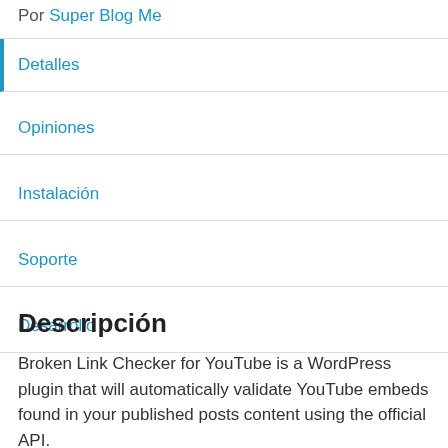Por Super Blog Me
Detalles
Opiniones
Instalación
Soporte
Desarrollo
Descripción
Broken Link Checker for YouTube is a WordPress plugin that will automatically validate YouTube embeds found in your published posts content using the official API.